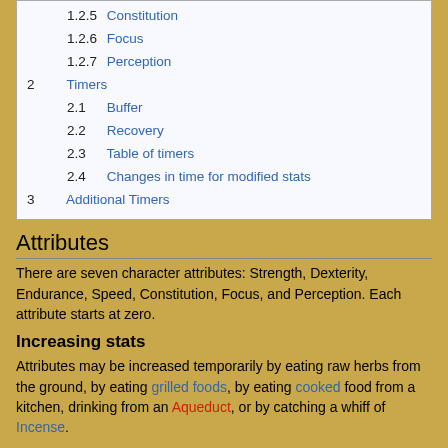1.2.5 Constitution
1.2.6 Focus
1.2.7 Perception
2 Timers
2.1 Buffer
2.2 Recovery
2.3 Table of timers
2.4 Changes in time for modified stats
3 Additional Timers
Attributes
There are seven character attributes: Strength, Dexterity, Endurance, Speed, Constitution, Focus, and Perception. Each attribute starts at zero.
Increasing stats
Attributes may be increased temporarily by eating raw herbs from the ground, by eating grilled foods, by eating cooked food from a kitchen, drinking from an Aqueduct, or by catching a whiff of Incense.
Temporary Boosts